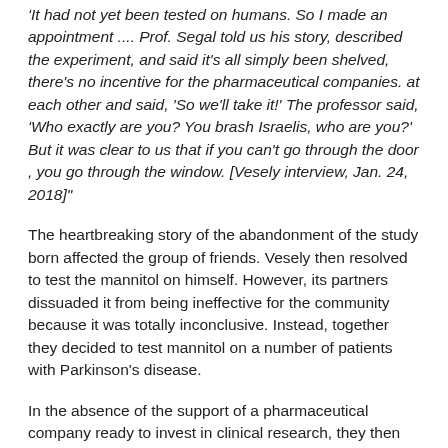'It had not yet been tested on humans. So I made an appointment .... Prof. Segal told us his story, described the experiment, and said it's all simply been shelved, there's no incentive for the pharmaceutical companies. at each other and said, 'So we'll take it!' The professor said, 'Who exactly are you? You brash Israelis, who are you?' But it was clear to us that if you can't go through the door , you go through the window. [Vesely interview, Jan. 24, 2018]"
The heartbreaking story of the abandonment of the study born affected the group of friends. Vesely then resolved to test the mannitol on himself. However, its partners dissuaded it from being ineffective for the community because it was totally inconclusive. Instead, together they decided to test mannitol on a number of patients with Parkinson's disease.
In the absence of the support of a pharmaceutical company ready to invest in clinical research, they then sought to test mannitol as if it were a military